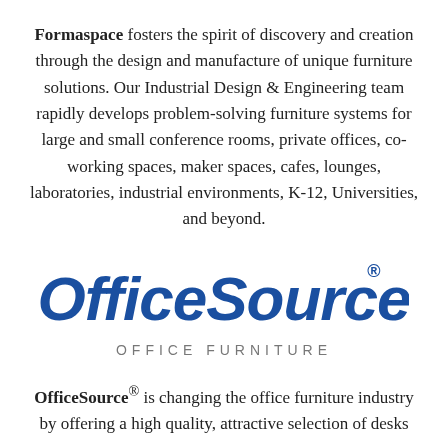Formaspace fosters the spirit of discovery and creation through the design and manufacture of unique furniture solutions. Our Industrial Design & Engineering team rapidly develops problem-solving furniture systems for large and small conference rooms, private offices, co-working spaces, maker spaces, cafes, lounges, laboratories, industrial environments, K-12, Universities, and beyond.
[Figure (logo): OfficeSource logo with italic 'OfficeSource' in blue bold text followed by registered trademark symbol, and 'OFFICE FURNITURE' in grey uppercase letters below]
OfficeSource® is changing the office furniture industry by offering a high quality, attractive selection of desks